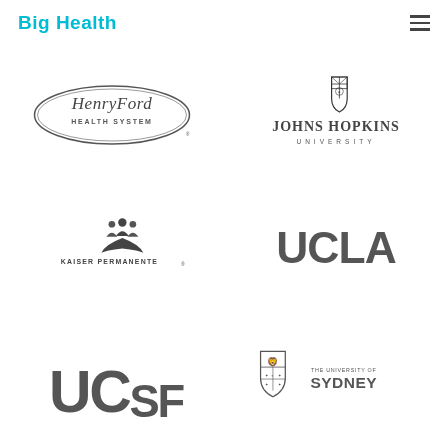Big Health
[Figure (logo): Henry Ford Health System logo - oval shape with script lettering]
[Figure (logo): Johns Hopkins University logo with shield crest]
[Figure (logo): Kaiser Permanente logo with people icon and rising sun]
[Figure (logo): UCLA logo in large bold gray letters]
[Figure (logo): UCSF logo in large bold gray letters]
[Figure (logo): The University of Sydney logo with shield crest]